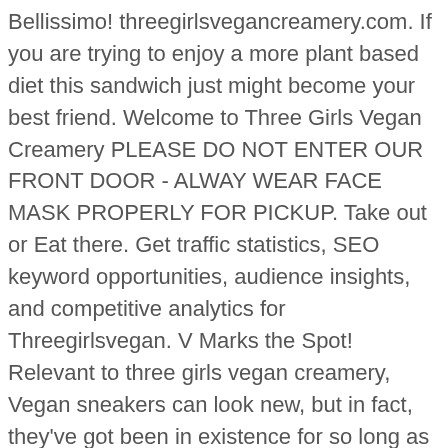Bellissimo! threegirlsvegancreamery.com. If you are trying to enjoy a more plant based diet this sandwich just might become your best friend. Welcome to Three Girls Vegan Creamery PLEASE DO NOT ENTER OUR FRONT DOOR - ALWAY WEAR FACE MASK PROPERLY FOR PICKUP. Take out or Eat there. Get traffic statistics, SEO keyword opportunities, audience insights, and competitive analytics for Threegirlsvegan. V Marks the Spot! Relevant to three girls vegan creamery, Vegan sneakers can look new, but in fact, they've got been in existence for so long as the first shoe perhaps at any time arrived to lifetime. 2 Thank CatherineSNewYork . Monte Cristo Sandwich with Organic Strawberry Salad This leveled up Grilled Cheese is one of our favorites!!! Three Girls Vegan, LLC is a Connecticut Domestic